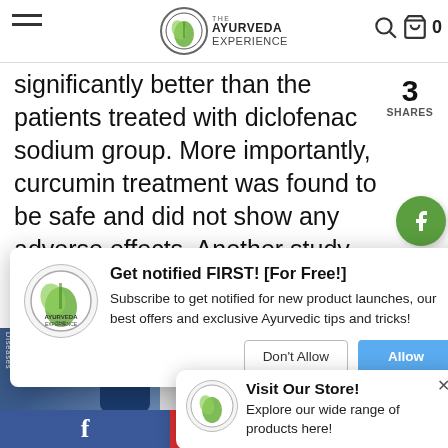The Ayurveda Experience
significantly better than the patients treated with diclofenac sodium group. More importantly, curcumin treatment was found to be safe and did not show any adverse effects. Another study
3 SHARES
[Figure (screenshot): Notification popup modal: 'Get notified FIRST! [For Free!] Subscribe to get notified for new product launches, our best offers and exclusive Ayurvedic tips and tricks!' with Don't Allow and Allow buttons]
[Figure (screenshot): Visit Our Store modal: 'Explore our wide range of products here!' with close button]
[Figure (screenshot): Course banner with doctor image: Watch this course by Harvard-trained internal medicine specialist and Ayurvedic practitioner Dr. Akil Palanisamy, and learn practical steps to affect a Systemic Cure Ayurveda]
Overcome The Side Effects Dr.